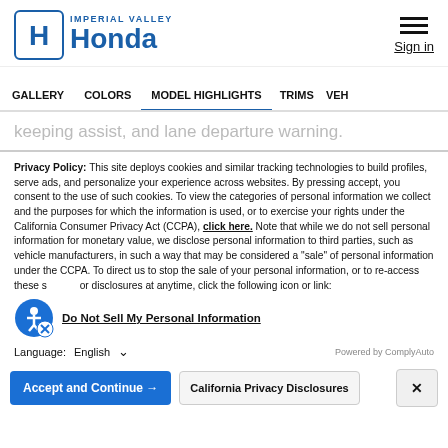IMPERIAL VALLEY Honda
GALLERY  COLORS  MODEL HIGHLIGHTS  TRIMS  VEH
keeping assist, and lane departure warning.
Privacy Policy: This site deploys cookies and similar tracking technologies to build profiles, serve ads, and personalize your experience across websites. By pressing accept, you consent to the use of such cookies. To view the categories of personal information we collect and the purposes for which the information is used, or to exercise your rights under the California Consumer Privacy Act (CCPA), click here. Note that while we do not sell personal information for monetary value, we disclose personal information to third parties, such as vehicle manufacturers, in such a way that may be considered a "sale" of personal information under the CCPA. To direct us to stop the sale of your personal information, or to re-access these settings or disclosures at anytime, click the following icon or link:
Do Not Sell My Personal Information
Language:  English
Powered by ComplyAuto
Accept and Continue →   California Privacy Disclosures   ×